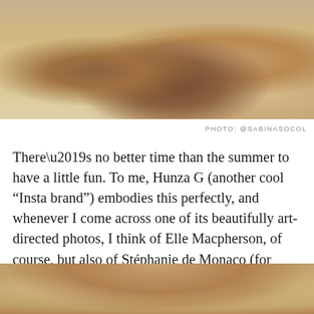[Figure (photo): Top portion of a beach/outdoor photo showing a person in a swimsuit, cropped, with sandy/water background. Photo credit @SABINASOCOL.]
PHOTO: @SABINASOCOL
There’s no better time than the summer to have a little fun. To me, Hunza G (another cool “Insta brand”) embodies this perfectly, and whenever I come across one of its beautifully art-directed photos, I think of Elle Macpherson, of course, but also of Stéphanie de Monaco (for those who don’t know her, I encourage you to google her). The whole vibe just reminds me of the ‘80s, a time when showing a curvier figure was the norm.
[Figure (photo): Bottom portion of a photo showing a person with long hair, cropped at the top of the frame, beach/outdoor setting.]